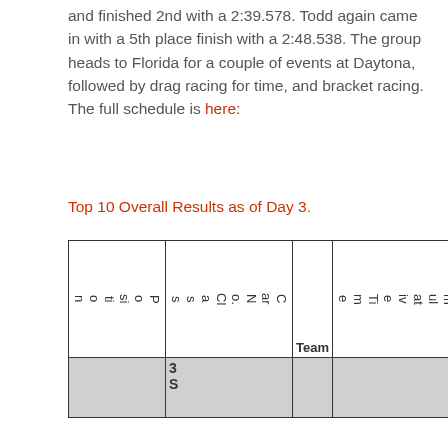and finished 2nd with a 2:39.578. Todd again came in with a 5th place finish with a 2:48.538. The group heads to Florida for a couple of events at Daytona, followed by drag racing for time, and bracket racing. The full schedule is here:
Top 10 Overall Results as of Day 3.
| Position | Car No. Class | Team | Cumulative Time | Points |
| --- | --- | --- | --- | --- |
| 3S |  |  |  |  |